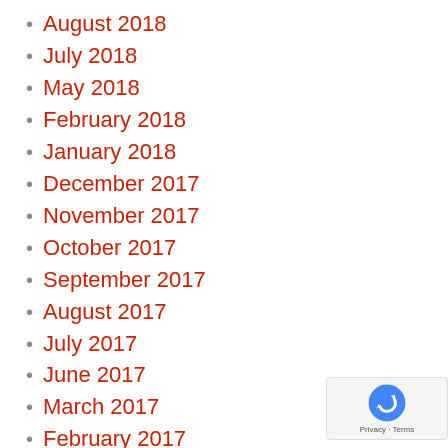August 2018
July 2018
May 2018
February 2018
January 2018
December 2017
November 2017
October 2017
September 2017
August 2017
July 2017
June 2017
March 2017
February 2017
January 2017
December 2016
November 2016